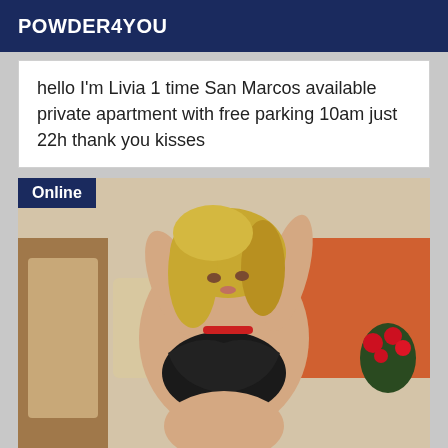POWDER4YOU
hello I'm Livia 1 time San Marcos available private apartment with free parking 10am just 22h thank you kisses
[Figure (photo): Woman posing indoors wearing black lingerie, with blonde hair, hands raised near head. Online badge visible in top left corner.]